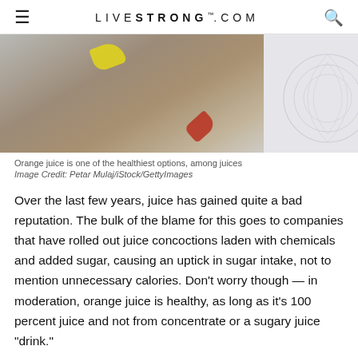≡   LIVESTRONG.COM   🔍
[Figure (photo): Close-up photo showing orange juice related items on a wooden surface, with a yellow element and red element visible, and a decorative white panel on the right side]
Orange juice is one of the healthiest options, among juices
Image Credit: Petar Mulaj/iStock/GettyImages
Over the last few years, juice has gained quite a bad reputation. The bulk of the blame for this goes to companies that have rolled out juice concoctions laden with chemicals and added sugar, causing an uptick in sugar intake, not to mention unnecessary calories. Don't worry though — in moderation, orange juice is healthy, as long as it's 100 percent juice and not from concentrate or a sugary juice "drink."